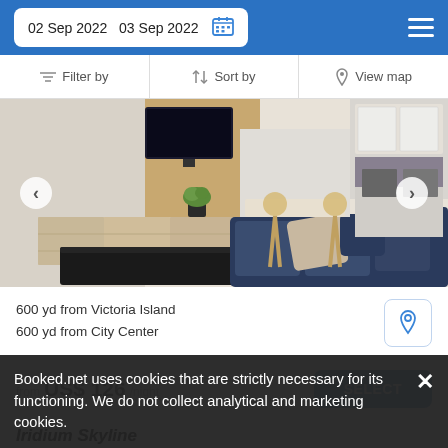02 Sep 2022  03 Sep 2022
Filter by  Sort by  View map
[Figure (photo): Interior photo of a modern apartment living room with a large flat-screen TV on the wall, wooden media console, dark coffee table, navy blue sofa with pillows, a small plant, kitchen bar stools, and an open-plan kitchen in the background.]
600 yd from Victoria Island
600 yd from City Center
from US$ 126/night
SELECT
Booked.net uses cookies that are strictly necessary for its functioning. We do not collect analytical and marketing cookies.
Iridium Skyline